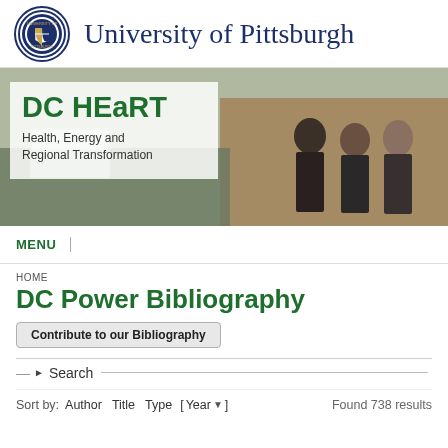University of Pittsburgh
[Figure (illustration): DC HEaRT banner photo showing three men in suits standing outside a building, with a semi-transparent white overlay box containing the DC HEaRT logo and subtitle 'Health, Energy and Regional Transformation']
DC HEaRT - Health, Energy and Regional Transformation
MENU
HOME
DC Power Bibliography
Contribute to our Bibliography
Search
Sort by: Author Title Type [ Year ] Found 738 results